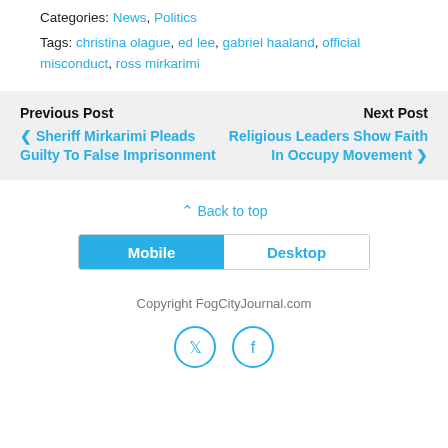Categories: News, Politics
Tags: christina olague, ed lee, gabriel haaland, official misconduct, ross mirkarimi
Previous Post ❮ Sheriff Mirkarimi Pleads Guilty To False Imprisonment
Next Post Religious Leaders Show Faith In Occupy Movement ❯
⌃ Back to top
Mobile | Desktop
Copyright FogCityJournal.com